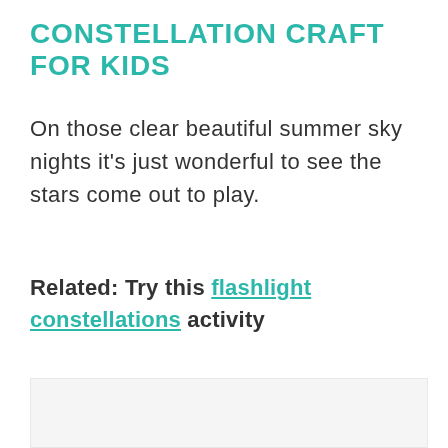CONSTELLATION CRAFT FOR KIDS
On those clear beautiful summer sky nights it's just wonderful to see the stars come out to play.
Related: Try this flashlight constellations activity
[Figure (photo): Image area showing constellation craft content, appears blank/white in this portion of the page]